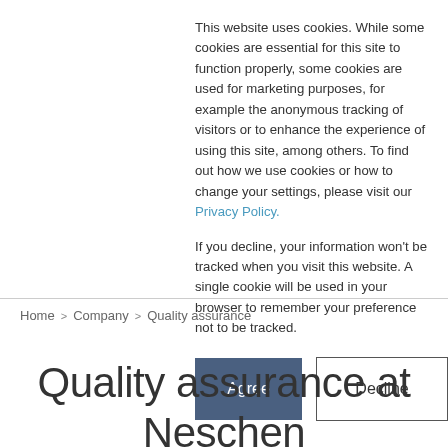This website uses cookies. While some cookies are essential for this site to function properly, some cookies are used for marketing purposes, for example the anonymous tracking of visitors or to enhance the experience of using this site, among others. To find out how we use cookies or how to change your settings, please visit our Privacy Policy.
If you decline, your information won't be tracked when you visit this website. A single cookie will be used in your browser to remember your preference not to be tracked.
[Figure (other): Two buttons: 'Agree' (dark blue filled) and 'Decline' (white with border)]
Home > Company > Quality assurance
Quality assurance at Neschen